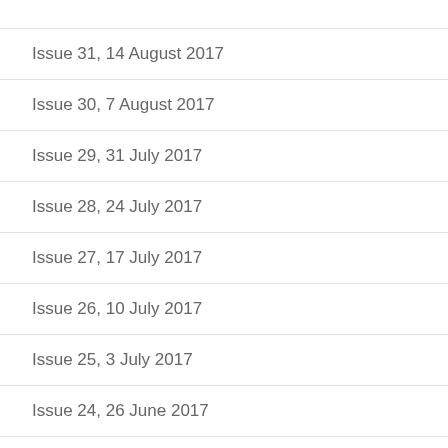Issue 31, 14 August 2017
Issue 30, 7 August 2017
Issue 29, 31 July 2017
Issue 28, 24 July 2017
Issue 27, 17 July 2017
Issue 26, 10 July 2017
Issue 25, 3 July 2017
Issue 24, 26 June 2017